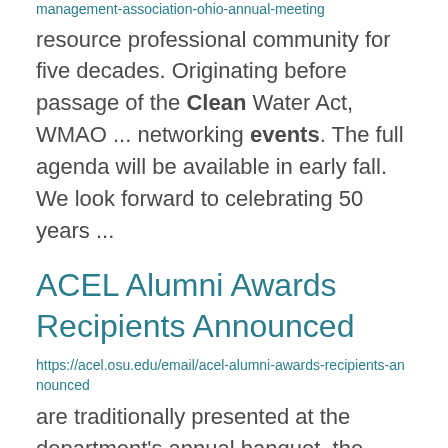management-association-ohio-annual-meeting resource professional community for five decades. Originating before passage of the Clean Water Act, WMAO ... networking events. The full agenda will be available in early fall. We look forward to celebrating 50 years ...
ACEL Alumni Awards Recipients Announced
https://acel.osu.edu/email/acel-alumni-awards-recipients-announced
are traditionally presented at the department's annual banquet, the event did not take place in 2021. ... The plan for